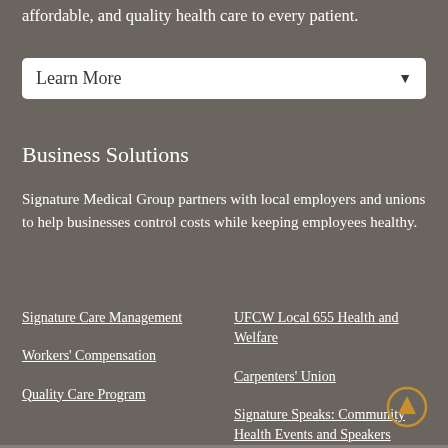affordable, and quality health care to every patient.
Learn More
Business Solutions
Signature Medical Group partners with local employers and unions to help businesses control costs while keeping employees healthy.
Signature Care Management
UFCW Local 655 Health and Welfare
Workers' Compensation
Carpenters' Union
Quality Care Program
Signature Speaks: Community Health Events and Speakers